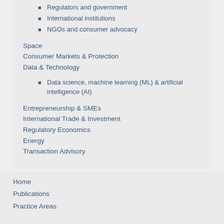Regulators and government
International institutions
NGOs and consumer advocacy
Space
Consumer Markets & Protection
Data & Technology
Data science, machine learning (ML) & artificial intelligence (AI)
Entrepreneurship & SMEs
International Trade & Investment
Regulatory Economics
Energy
Transaction Advisory
Home
Publications
Practice Areas